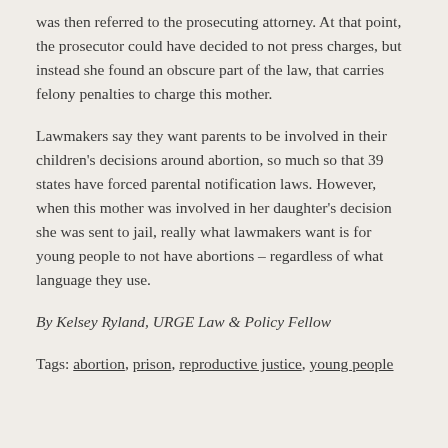was then referred to the prosecuting attorney. At that point, the prosecutor could have decided to not press charges, but instead she found an obscure part of the law, that carries felony penalties to charge this mother.
Lawmakers say they want parents to be involved in their children's decisions around abortion, so much so that 39 states have forced parental notification laws. However, when this mother was involved in her daughter's decision she was sent to jail, really what lawmakers want is for young people to not have abortions – regardless of what language they use.
By Kelsey Ryland, URGE Law & Policy Fellow
Tags: abortion, prison, reproductive justice, young people